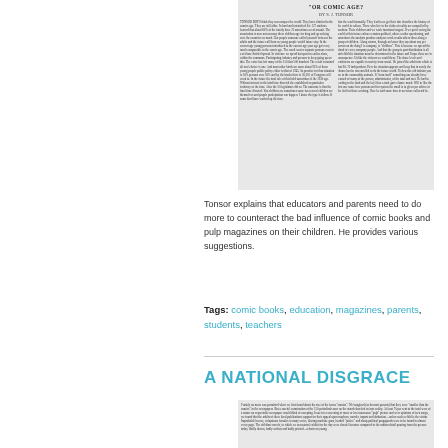[Figure (other): Scanned page of article with title OR COMIC AGE? by S. Tonsor, showing two columns of small text]
Tonsor explains that educators and parents need to do more to counteract the bad influence of comic books and pulp magazines on their children. He provides various suggestions.
Tags: comic books, education, magazines, parents, students, teachers
A NATIONAL DISGRACE
[Figure (other): Scanned page of article A National Disgrace showing columns of small text]